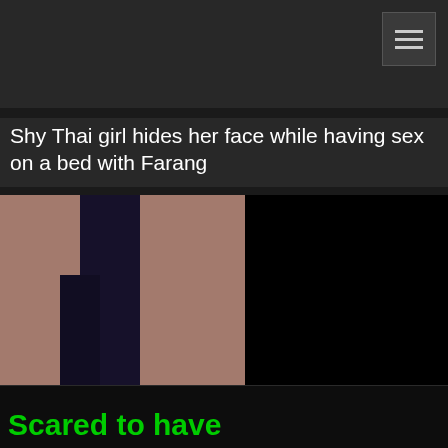Shy Thai girl hides her face while having sex on a bed with Farang
[Figure (photo): Advertisement banner for 'League of Legends The Parody' with a Play Now button, showing partial figure against dark background]
Scared to have